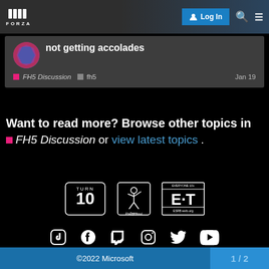FORZA — Log In
not getting accolades
FH5 Discussion   fh5   Jan 19
Want to read more? Browse other topics in FH5 Discussion or view latest topics.
[Figure (logo): Turn 10 Studios logo, Playground Games logo, ESRB E-T rating badge]
[Figure (infographic): Social media icons: TikTok, Facebook, Twitch, Instagram, Twitter, YouTube]
©2022 Microsoft   1 / 2